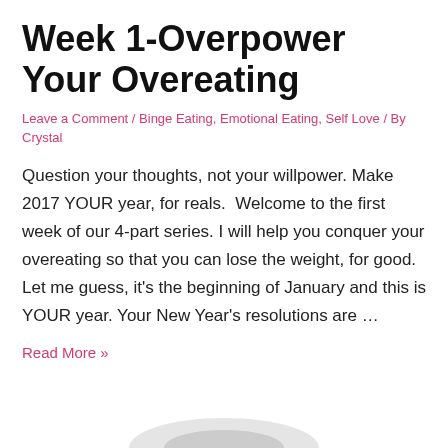Week 1-Overpower Your Overeating
Leave a Comment / Binge Eating, Emotional Eating, Self Love / By Crystal
Question your thoughts, not your willpower. Make 2017 YOUR year, for reals.  Welcome to the first week of our 4-part series. I will help you conquer your overeating so that you can lose the weight, for good. Let me guess, it's the beginning of January and this is YOUR year. Your New Year's resolutions are …
Read More »